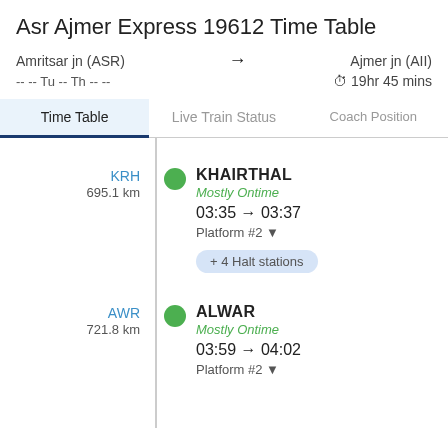Asr Ajmer Express 19612 Time Table
Amritsar jn (ASR) → Ajmer jn (AII)
-- -- Tu -- Th -- --   ⏱ 19hr 45 mins
Time Table | Live Train Status | Coach Position
KRH 695.1 km KHAIRTHAL Mostly Ontime 03:35 → 03:37 Platform #2 + 4 Halt stations
AWR 721.8 km ALWAR Mostly Ontime 03:59 → 04:02 Platform #2